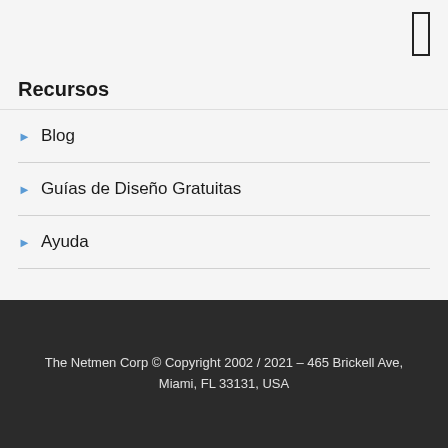[Figure (other): Mobile menu icon (rectangle/hamburger button) in top right corner]
Recursos
Blog
Guías de Diseño Gratuitas
Ayuda
The Netmen Corp © Copyright 2002 / 2021 – 465 Brickell Ave, Miami, FL 33131, USA